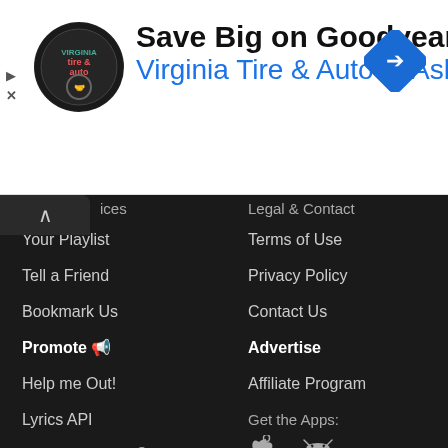[Figure (screenshot): Advertisement banner for Virginia Tire & Auto of Ashburn featuring a logo, headline 'Save Big on Goodyear Tires', and a blue navigation/directions icon]
ices (partially visible header)
Legal & Contact (partially visible header)
Your Playlist
Terms of Use
Tell a Friend
Privacy Policy
Bookmark Us
Contact Us
Promote 📣
Advertise
Help me Out!
Affiliate Program
Lyrics API
Get the Apps:
Top on Radio 🎤
Lyrics Generator
The Lyrics Quiz
Marketplace 🔒
Articles (partially visible)